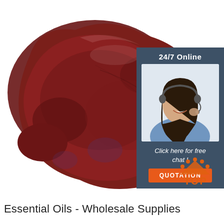[Figure (photo): A raw animal liver (dark reddish-brown) on a white background, viewed from above.]
[Figure (photo): Customer service agent widget: dark blue/grey box with '24/7 Online' text at top, photo of smiling woman with headset, italic text 'Click here for free chat !', and an orange 'QUOTATION' button.]
[Figure (illustration): Orange 'TOP' logo/icon with small dots arranged in an arc above the word TOP.]
Essential Oils - Wholesale Supplies